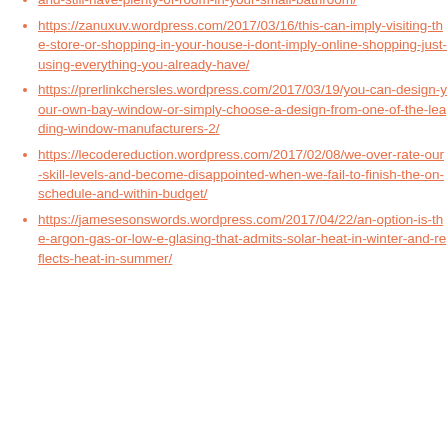and-still-have-plenty-of-room-in-your-small-bathroom/ (partial url at top)
https://zanuxuv.wordpress.com/2017/03/16/this-can-imply-visiting-the-store-or-shopping-in-your-house-i-dont-imply-online-shopping-just-using-everything-you-already-have/
https://prerlinkchersles.wordpress.com/2017/03/19/you-can-design-your-own-bay-window-or-simply-choose-a-design-from-one-of-the-leading-window-manufacturers-2/
https://lecodereduction.wordpress.com/2017/02/08/we-over-rate-our-skill-levels-and-become-disappointed-when-we-fail-to-finish-the-on-schedule-and-within-budget/
https://jamesesonswords.wordpress.com/2017/04/22/an-option-is-the-argon-gas-or-low-e-glasing-that-admits-solar-heat-in-winter-and-reflects-heat-in-summer/